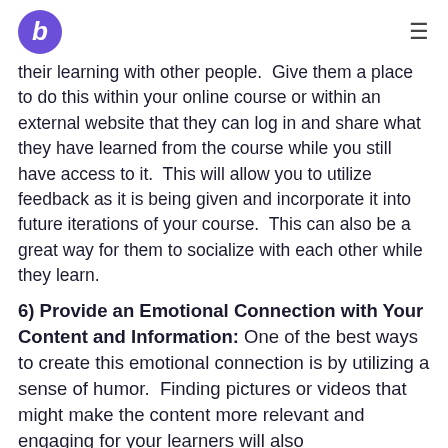[Teachable logo] [hamburger menu]
their learning with other people.  Give them a place to do this within your online course or within an external website that they can log in and share what they have learned from the course while you still have access to it.  This will allow you to utilize feedback as it is being given and incorporate it into future iterations of your course.  This can also be a great way for them to socialize with each other while they learn.
6) Provide an Emotional Connection with Your Content and Information: One of the best ways to create this emotional connection is by utilizing a sense of humor.  Finding pictures or videos that might make the content more relevant and engaging for your learners will also